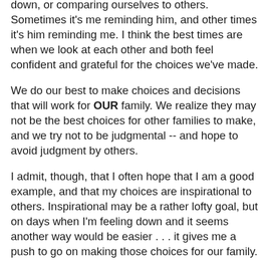down, or comparing ourselves to others. Sometimes it's me reminding him, and other times it's him reminding me. I think the best times are when we look at each other and both feel confident and grateful for the choices we've made.
We do our best to make choices and decisions that will work for OUR family. We realize they may not be the best choices for other families to make, and we try not to be judgmental -- and hope to avoid judgment by others.
I admit, though, that I often hope that I am a good example, and that my choices are inspirational to others. Inspirational may be a rather lofty goal, but on days when I'm feeling down and it seems another way would be easier . . . it gives me a push to go on making those choices for our family.
It's not easy to be open to life, or for me to stay at home, or homeschool, or breastfeed, or a myriad of other choices we've made. I believe, wholeheartedly, though that they are the best choices for OUR family.
I try my best not to judge others, and be cheerful and open